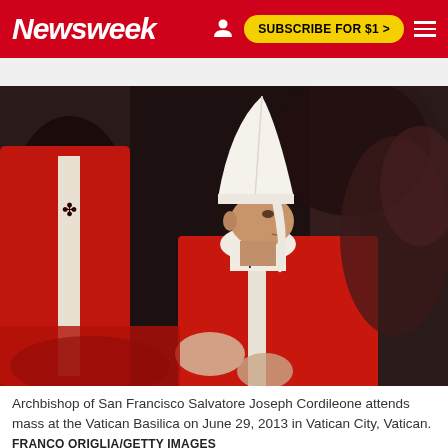Newsweek | SUBSCRIBE FOR $1 >
[Figure (photo): Archbishop of San Francisco Salvatore Joseph Cordileone wearing red vestments and a white mitre, attending mass at the Vatican Basilica, shown in profile view, June 29, 2013.]
Archbishop of San Francisco Salvatore Joseph Cordileone attends mass at the Vatican Basilica on June 29, 2013 in Vatican City, Vatican.
FRANCO ORIGLIA/GETTY IMAGES